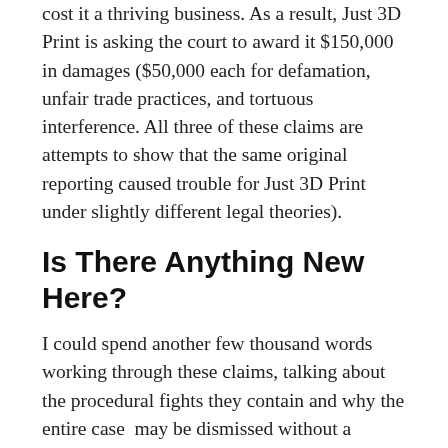cost it a thriving business.  As a result, Just 3D Print is asking the court to award it $150,000 in damages ($50,000 each for defamation, unfair trade practices, and tortuous interference. All three of these claims are attempts to show that the same original reporting caused trouble for Just 3D Print under slightly different legal theories).
Is There Anything New Here?
I could spend another few thousand words working through these claims, talking about the procedural fights they contain and why the entire case  may be dismissed without a substantive decision by the court because Just 3D Print may have failed to follow various administrative rules, but my and your life is finite so I won't. This is basically another round of the same dance that we saw in Round 3 moved to a slightly larger court.  That means that the post outlining Round 3 takes care of most of the substance.